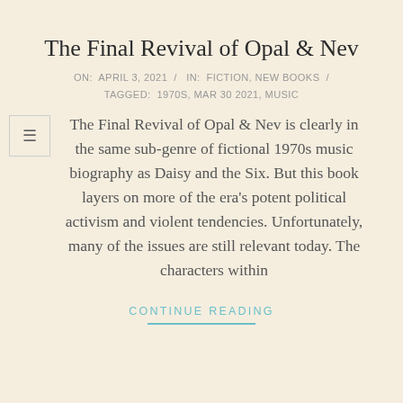The Final Revival of Opal & Nev
ON:  APRIL 3, 2021  /  IN:  FICTION, NEW BOOKS  /  TAGGED:  1970S, MAR 30 2021, MUSIC
The Final Revival of Opal & Nev is clearly in the same sub-genre of fictional 1970s music biography as Daisy and the Six. But this book layers on more of the era's potent political activism and violent tendencies. Unfortunately, many of the issues are still relevant today. The characters within
CONTINUE READING